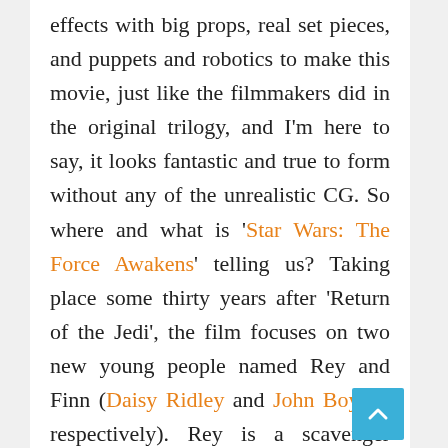effects with big props, real set pieces, and puppets and robotics to make this movie, just like the filmmakers did in the original trilogy, and I'm here to say, it looks fantastic and true to form without any of the unrealistic CG. So where and what is 'Star Wars: The Force Awakens' telling us? Taking place some thirty years after 'Return of the Jedi', the film focuses on two new young people named Rey and Finn (Daisy Ridley and John Boyega respectively). Rey is a scavenger while Finn is a stormtrooper who abandons the The First Order to help Rey.